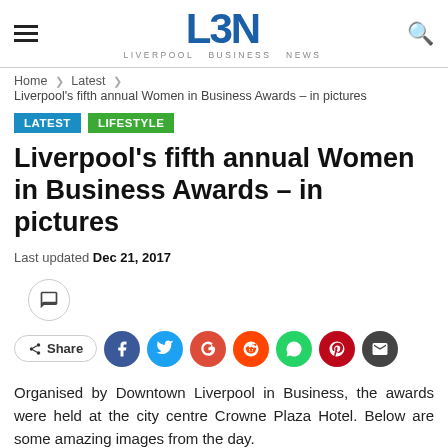LBN Liverpool Business News
Home > Latest > Liverpool's fifth annual Women in Business Awards – in pictures
LATEST
LIFESTYLE
Liverpool's fifth annual Women in Business Awards – in pictures
Last updated Dec 21, 2017
Share
Organised by Downtown Liverpool in Business, the awards were held at the city centre Crowne Plaza Hotel. Below are some amazing images from the day.